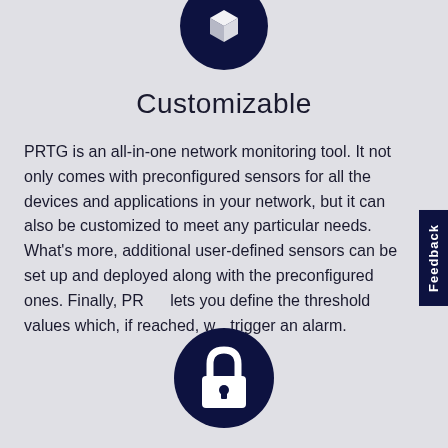[Figure (illustration): Dark navy circle with white 3D cube/box icon at the top of the page]
Customizable
PRTG is an all-in-one network monitoring tool. It not only comes with preconfigured sensors for all the devices and applications in your network, but it can also be customized to meet any particular needs. What's more, additional user-defined sensors can be set up and deployed along with the preconfigured ones. Finally, PRTG lets you define the threshold values which, if reached, will trigger an alarm.
[Figure (illustration): Dark navy circle with white padlock/lock icon at the bottom of the page]